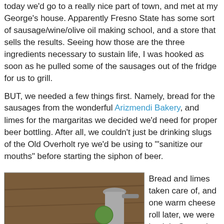today we'd go to a really nice part of town, and met at my George's house. Apparently Fresno State has some sort of sausage/wine/olive oil making school, and a store that sells the results. Seeing how those are the three ingredients necessary to sustain life, I was hooked as soon as he pulled some of the sausages out of the fridge for us to grill.
BUT, we needed a few things first. Namely, bread for the sausages from the wonderful Arizmendi Bakery, and limes for the margaritas we decided we'd need for proper beer bottling. After all, we couldn't just be drinking slugs of the Old Overholt rye we'd be using to "'sanitize our mouths" before starting the siphon of beer.
[Figure (photo): Photo of limes and a citrus juicer on a wooden cutting board]
Bread and limes taken care of, and one warm cheese roll later, we were back in George's kitchen getting ready to bottle the beer. Thus, tho